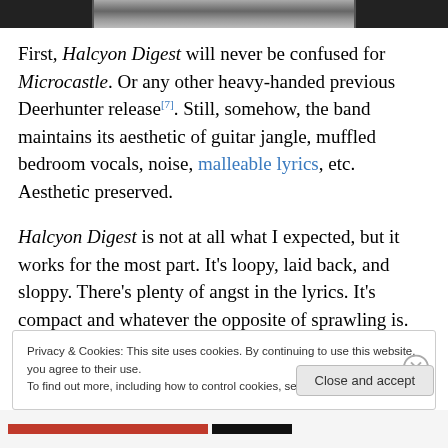[Figure (photo): Black and white photo strip at the top of the page, partially visible crop of a person]
First, Halcyon Digest will never be confused for Microcastle. Or any other heavy-handed previous Deerhunter release[7]. Still, somehow, the band maintains its aesthetic of guitar jangle, muffled bedroom vocals, noise, malleable lyrics, etc. Aesthetic preserved.
Halcyon Digest is not at all what I expected, but it works for the most part. It's loopy, laid back, and sloppy. There's plenty of angst in the lyrics. It's compact and whatever the opposite of sprawling is. It's a ghost of an album and
Privacy & Cookies: This site uses cookies. By continuing to use this website, you agree to their use.
To find out more, including how to control cookies, see here: Cookie Policy